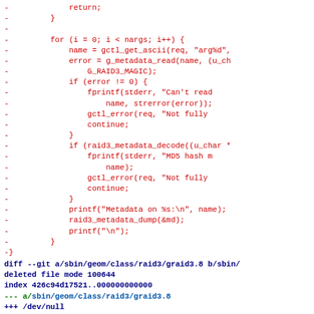Diff output showing deleted lines (red) from a C source file followed by a git diff header for a deleted file graid3.8